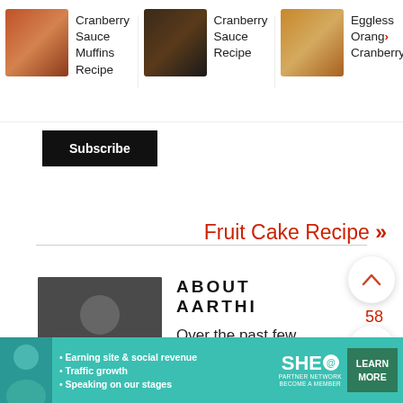[Figure (screenshot): Website screenshot showing recipe navigation bar with three recipe cards (Cranberry Sauce Muffins Recipe, Cranberry Sauce Recipe, Eggless Orange Cranberry...), a Subscribe button, a Fruit Cake Recipe link, About Aarthi section, and an ad banner for SHE Partner Network.]
Cranberry Sauce Muffins Recipe
Cranberry Sauce Recipe
Eggless Orange Cranberry...
Subscribe
Fruit Cake Recipe »
58
ABOUT AARTHI
Over the past few years I've been on a mission to find and create recipes
• Earning site & social revenue
• Traffic growth
• Speaking on our stages
SHE PARTNER NETWORK BECOME A MEMBER
LEARN MORE